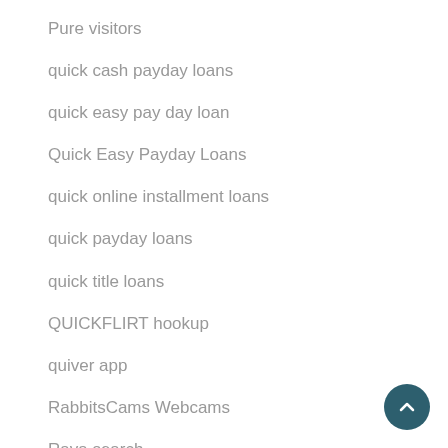Pure visitors
quick cash payday loans
quick easy pay day loan
Quick Easy Payday Loans
quick online installment loans
quick payday loans
quick title loans
QUICKFLIRT hookup
quiver app
RabbitsCams Webcams
Raya search
raya sign in